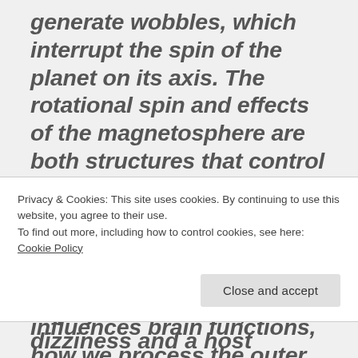generate wobbles, which interrupt the spin of the planet on its axis. The rotational spin and effects of the magnetosphere are both structures that control the dimensional lens of what we are able to see visually in the light spectrum of our environment and greatly influences brain functions, how we process the outer reality and how the brain's neural net interfaces with our
Privacy & Cookies: This site uses cookies. By continuing to use this website, you agree to their use.
To find out more, including how to control cookies, see here: Cookie Policy
of physical balance, dizziness and a host